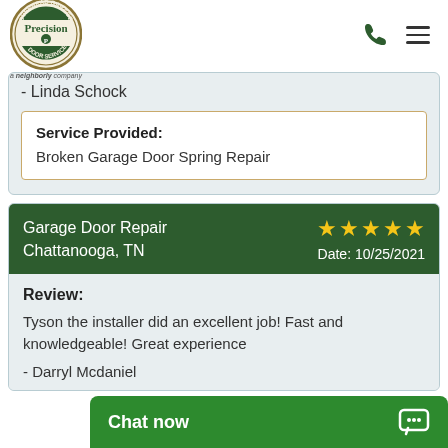[Figure (logo): Precision Overhead Garage Door Service logo - circular emblem with green and gold text, labeled 'a neighborly company' below]
- Linda Schock
Service Provided:
Broken Garage Door Spring Repair
Garage Door Repair
Chattanooga, TN
★★★★★
Date: 10/25/2021
Review:
Tyson the installer did an excellent job! Fast and knowledgeable! Great experience
- Darryl Mcdaniel
Chat now